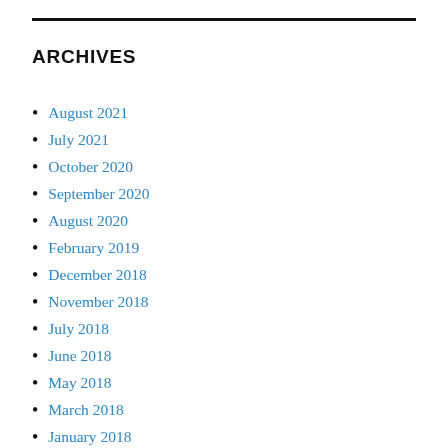ARCHIVES
August 2021
July 2021
October 2020
September 2020
August 2020
February 2019
December 2018
November 2018
July 2018
June 2018
May 2018
March 2018
January 2018